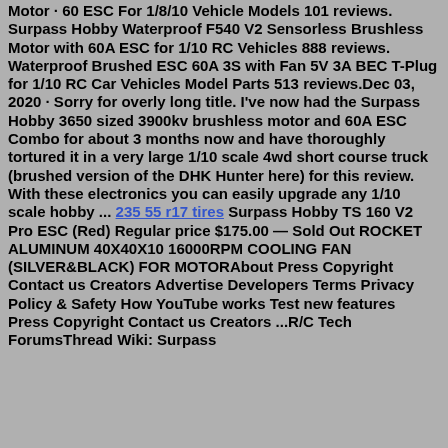Motor · 60 ESC For 1/8/10 Vehicle Models 101 reviews. Surpass Hobby Waterproof F540 V2 Sensorless Brushless Motor with 60A ESC for 1/10 RC Vehicles 888 reviews. Waterproof Brushed ESC 60A 3S with Fan 5V 3A BEC T-Plug for 1/10 RC Car Vehicles Model Parts 513 reviews.Dec 03, 2020 · Sorry for overly long title. I've now had the Surpass Hobby 3650 sized 3900kv brushless motor and 60A ESC Combo for about 3 months now and have thoroughly tortured it in a very large 1/10 scale 4wd short course truck (brushed version of the DHK Hunter here) for this review. With these electronics you can easily upgrade any 1/10 scale hobby ... 235 55 r17 tires Surpass Hobby TS 160 V2 Pro ESC (Red) Regular price $175.00 — Sold Out ROCKET ALUMINUM 40X40X10 16000RPM COOLING FAN (SILVER&BLACK) FOR MOTORAbout Press Copyright Contact us Creators Advertise Developers Terms Privacy Policy & Safety How YouTube works Test new features Press Copyright Contact us Creators ...R/C Tech ForumsThread Wiki: Surpass